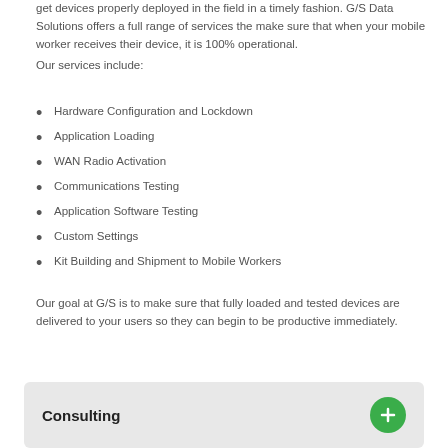get devices properly deployed in the field in a timely fashion. G/S Data Solutions offers a full range of services the make sure that when your mobile worker receives their device, it is 100% operational.
Our services include:
Hardware Configuration and Lockdown
Application Loading
WAN Radio Activation
Communications Testing
Application Software Testing
Custom Settings
Kit Building and Shipment to Mobile Workers
Our goal at G/S is to make sure that fully loaded and tested devices are delivered to your users so they can begin to be productive immediately.
Consulting